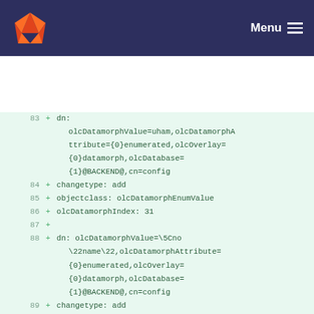GitLab Menu
[Figure (screenshot): Code diff view showing lines 83-94 of a file with LDAP/OpenLDAP configuration in LDIF format. Added lines (marked with +) include olcDatamorph entries with dn, changetype, objectclass, olcDatamorphIndex fields.]